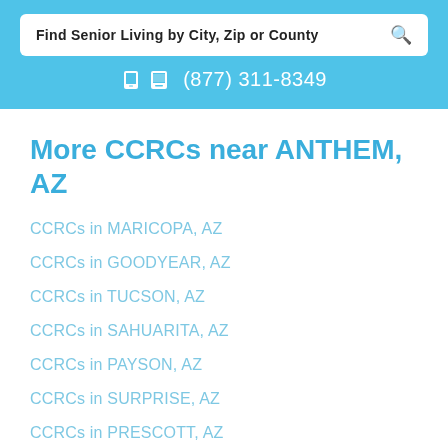Find Senior Living by City, Zip or County
(877) 311-8349
More CCRCs near ANTHEM, AZ
CCRCs in MARICOPA, AZ
CCRCs in GOODYEAR, AZ
CCRCs in TUCSON, AZ
CCRCs in SAHUARITA, AZ
CCRCs in PAYSON, AZ
CCRCs in SURPRISE, AZ
CCRCs in PRESCOTT, AZ